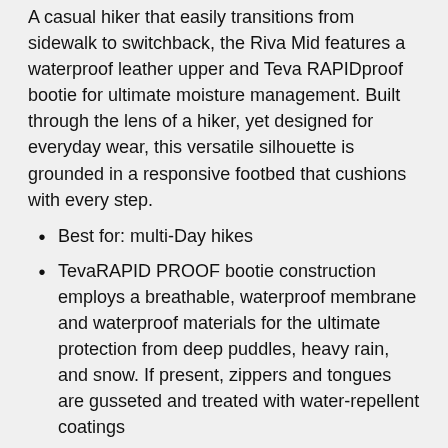A casual hiker that easily transitions from sidewalk to switchback, the Riva Mid features a waterproof leather upper and Teva RAPIDproof bootie for ultimate moisture management. Built through the lens of a hiker, yet designed for everyday wear, this versatile silhouette is grounded in a responsive footbed that cushions with every step.
Best for: multi-Day hikes
TevaRAPID PROOF bootie construction employs a breathable, waterproof membrane and waterproof materials for the ultimate protection from deep puddles, heavy rain, and snow. If present, zippers and tongues are gusseted and treated with water-repellent coatings
100% recycled polyester waffle knit lining
Lace-up entry allows you to customize your fit
A responsive PU footbed cushions your foot and puts a spring in your step
Molded EVA midsole, Nylon shank stabilizes and supports your foot on uneven terrain
Vibram® outsole rubber outsole stands up to the demands of rugged terrain